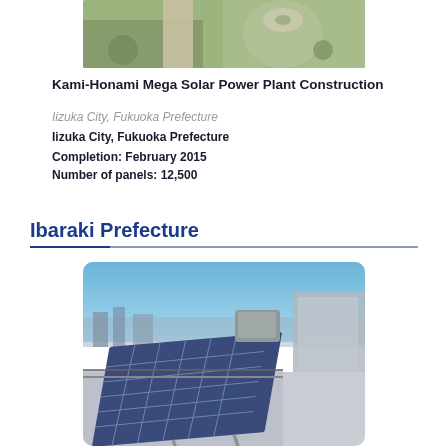[Figure (photo): Aerial view of Kami-Honami Mega Solar Power Plant construction site]
Kami-Honami Mega Solar Power Plant Construction
Iizuka City, Fukuoka Prefecture
Iizuka City, Fukuoka Prefecture
Completion: February 2015
Number of panels: 12,500
Ibaraki Prefecture
[Figure (photo): Solar panels installed on a rooftop with blue sky in the background, Ibaraki Prefecture]